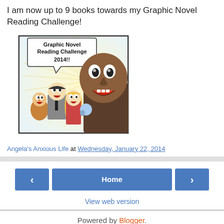I am now up to 9 books towards my Graphic Novel Reading Challenge!
[Figure (illustration): Comic-style illustration showing surprised/shocked characters with a speech bubble reading 'Graphic Novel Reading Challenge 2014!!']
Angela's Anxious Life at Wednesday, January 22, 2014
Home | View web version | Powered by Blogger.